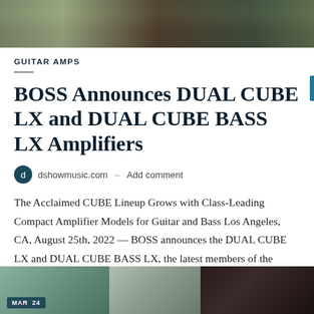[Figure (photo): Top banner photo of a music/garden setting with plants and dark background, partially cropped]
GUITAR AMPS
BOSS Announces DUAL CUBE LX and DUAL CUBE BASS LX Amplifiers
dshowmusic.com – Add comment
The Acclaimed CUBE Lineup Grows with Class-Leading Compact Amplifier Models for Guitar and Bass Los Angeles, CA, August 25th, 2022 — BOSS announces the DUAL CUBE LX and DUAL CUBE BASS LX, the latest members of the acclaimed CUBE amplifier family...
[Figure (photo): Three thumbnail images at the bottom of the page: a green guitar amp image with MAR 24 date badge, a small device image, and a dark close-up of guitar strings/equipment]